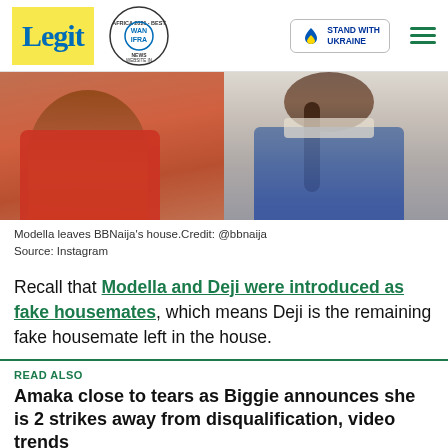Legit | WAN IFRA 2021 Best News Website in Africa | Stand with Ukraine
[Figure (photo): Split photo: left side shows a woman in a red top (Modella), right side shows a person with braided hair in a denim jacket]
Modella leaves BBNaija's house.Credit: @bbnaija
Source: Instagram
Recall that Modella and Deji were introduced as fake housemates, which means Deji is the remaining fake housemate left in the house.
READ ALSO
Amaka close to tears as Biggie announces she is 2 strikes away from disqualification, video trends